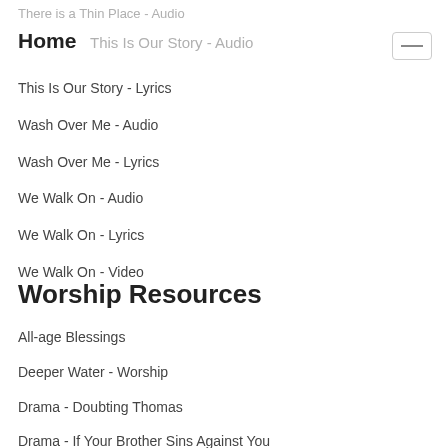There is a Thin Place - Audio
Home
This Is Our Story - Audio
This Is Our Story - Lyrics
Wash Over Me - Audio
Wash Over Me - Lyrics
We Walk On - Audio
We Walk On - Lyrics
We Walk On - Video
Worship Resources
All-age Blessings
Deeper Water - Worship
Drama - Doubting Thomas
Drama - If Your Brother Sins Against You
Drama: Calming the Storm
Easter Station - Jesus Before Pilate